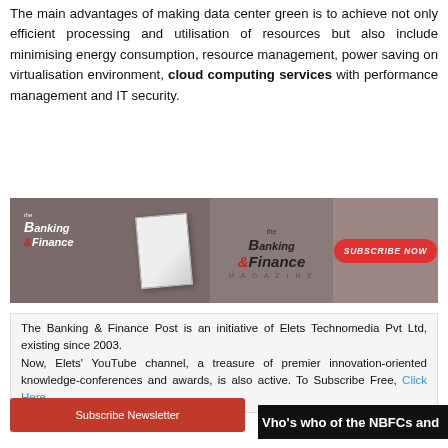The main advantages of making data center green is to achieve not only efficient processing and utilisation of resources but also include minimising energy consumption, resource management, power saving on virtualisation environment, cloud computing services with performance management and IT security.
[Figure (other): The Banking & Finance Magazine advertisement banner with logo, magazine cover image, and Subscribe Now button]
The Banking & Finance Post is an initiative of Elets Technomedia Pvt Ltd, existing since 2003. Now, Elets' YouTube channel, a treasure of premier innovation-oriented knowledge-conferences and awards, is also active. To Subscribe Free, Click Here.
Subscribe Newsletter
Who's who of the NBFCs and